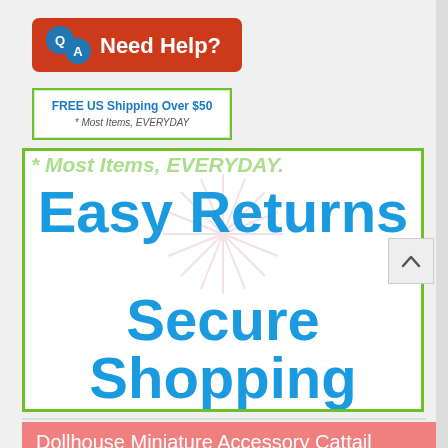[Figure (logo): Red rounded banner with Q/A speech bubble icon and white text 'Need Help?']
[Figure (infographic): Green-bordered white box with blue bold text 'FREE US Shipping Over $50' and italic subtitle '* Most Items, EVERYDAY']
[Figure (infographic): Green-bordered white promo box with ghost text '* Most Items, EVERYDAY', pink starburst watermark, and large blue bold text 'Easy Returns' and 'Secure Shopping']
Dollhouse Miniature Accessory Cattail Arrangement in Pot Description